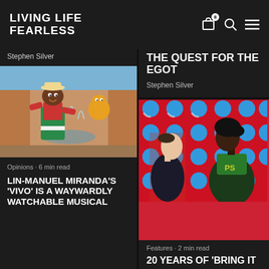[Figure (logo): Living Life Fearless logo in white bold text on dark background]
Stephen Silver
THE QUEST FOR THE EGOT
Stephen Silver
[Figure (photo): Animated character from 'Vivo' - a cheerful animated figure in green overalls and a hat, standing in a plaza setting]
Opinions · 6 min read
LIN-MANUEL MIRANDA'S 'VIVO' IS A WAYWARDLY WATCHABLE MUSICAL
[Figure (photo): Two women in cheerleading uniforms against a red background with blue polka dots - from 'Bring It On']
Features · 2 min read
20 YEARS OF 'BRING IT